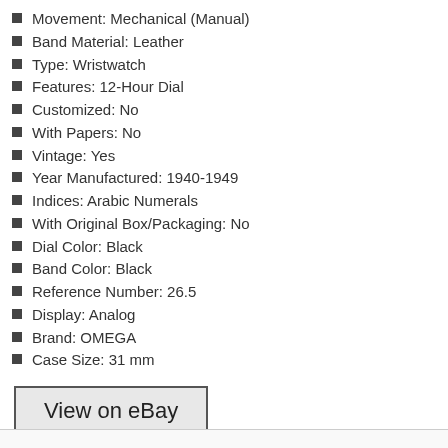Movement: Mechanical (Manual)
Band Material: Leather
Type: Wristwatch
Features: 12-Hour Dial
Customized: No
With Papers: No
Vintage: Yes
Year Manufactured: 1940-1949
Indices: Arabic Numerals
With Original Box/Packaging: No
Dial Color: Black
Band Color: Black
Reference Number: 26.5
Display: Analog
Brand: OMEGA
Case Size: 31 mm
View on eBay
[Figure (other): Social media share buttons: Facebook, Twitter, Email, and a plus button]